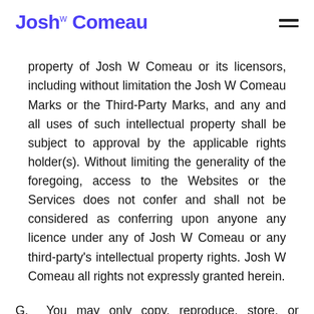Josh W Comeau
property of Josh W Comeau or its licensors, including without limitation the Josh W Comeau Marks or the Third-Party Marks, and any and all uses of such intellectual property shall be subject to approval by the applicable rights holder(s). Without limiting the generality of the foregoing, access to the Websites or the Services does not confer and shall not be considered as conferring upon anyone any licence under any of Josh W Comeau or any third-party's intellectual property rights. Josh W Comeau all rights not expressly granted herein.
G.   You may only copy, reproduce, store, or download content on the Websites and/or